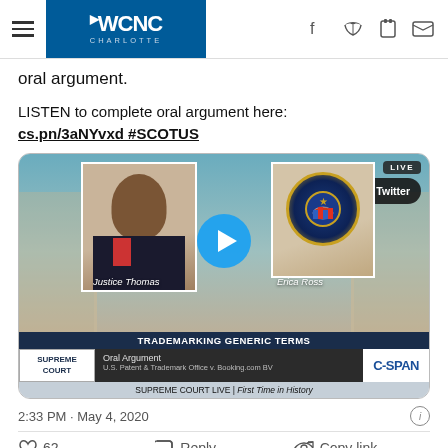WCNC CHARLOTTE
oral argument.
LISTEN to complete oral argument here: cs.pn/3aNYvxd #SCOTUS
[Figure (screenshot): C-SPAN live stream screenshot showing Justice Thomas and Erica Ross with SCOTUS oral argument for U.S. Patent & Trademark Office v. Booking.com BV, with Watch on Twitter button and play button overlay]
2:33 PM · May 4, 2020
62  Reply  Copy link